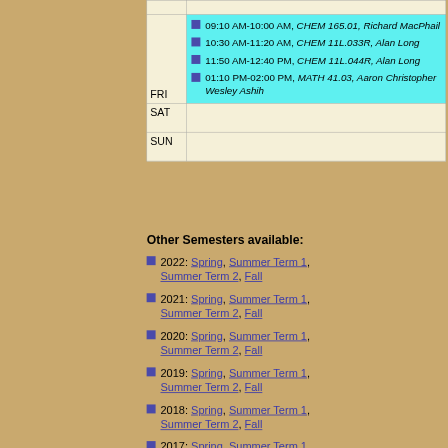| Day | Events |
| --- | --- |
|  |  |
| FRI | 09:10 AM-10:00 AM, CHEM 165.01, Richard MacPhail | 10:30 AM-11:20 AM, CHEM 11L.033R, Alan Long | 11:50 AM-12:40 PM, CHEM 11L.044R, Alan Long | 01:10 PM-02:00 PM, MATH 41.03, Aaron Christopher Wesley Ashih |
| SAT |  |
| SUN |  |
Other Semesters available:
2022: Spring, Summer Term 1, Summer Term 2, Fall
2021: Spring, Summer Term 1, Summer Term 2, Fall
2020: Spring, Summer Term 1, Summer Term 2, Fall
2019: Spring, Summer Term 1, Summer Term 2, Fall
2018: Spring, Summer Term 1, Summer Term 2, Fall
2017: Spring, Summer Term 1,